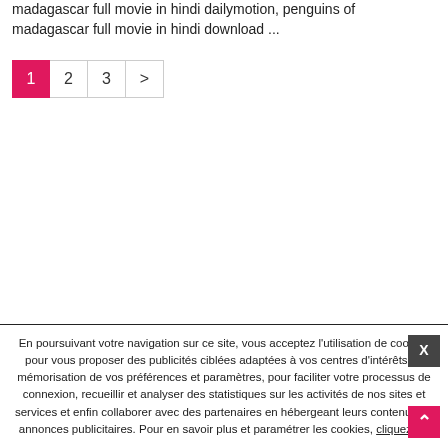madagascar full movie in hindi dailymotion, penguins of madagascar full movie in hindi download ...
Pagination: 1 (active), 2, 3, >
En poursuivant votre navigation sur ce site, vous acceptez l'utilisation de cookies pour vous proposer des publicités ciblées adaptées à vos centres d'intérêts, la mémorisation de vos préférences et paramètres, pour faciliter votre processus de connexion, recueillir et analyser des statistiques sur les activités de nos sites et services et enfin collaborer avec des partenaires en hébergeant leurs contenus ou annonces publicitaires. Pour en savoir plus et paramétrer les cookies, cliquez ici.